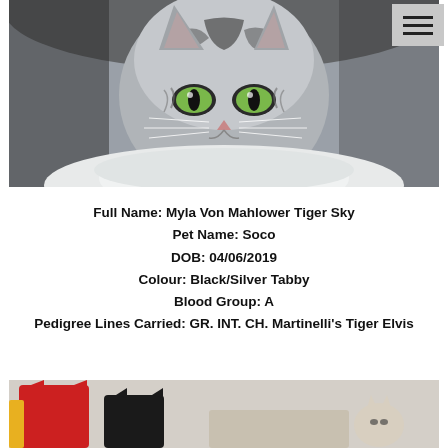[Figure (photo): Close-up photograph of a silver tabby cat with green eyes lying on white fur, looking directly at the camera.]
Full Name: Myla Von Mahlower Tiger Sky
Pet Name: Soco
DOB: 04/06/2019
Colour: Black/Silver Tabby
Blood Group: A
Pedigree Lines Carried: GR. INT. CH. Martinelli's Tiger Elvis
[Figure (photo): Partial photograph showing decorative cat-shaped pillows in red, black, and neutral tones, with a small cat visible on the right side.]